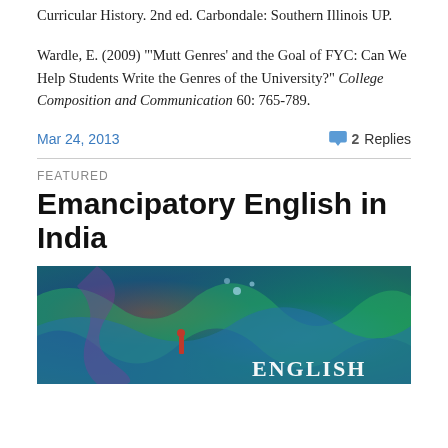Curricular History. 2nd ed. Carbondale: Southern Illinois UP.
Wardle, E. (2009) "'Mutt Genres' and the Goal of FYC: Can We Help Students Write the Genres of the University?" College Composition and Communication 60: 765-789.
Mar 24, 2013
2 Replies
FEATURED
Emancipatory English in India
[Figure (photo): Colorful abstract swirling art book cover image with the word ENGLISH visible at the bottom right]